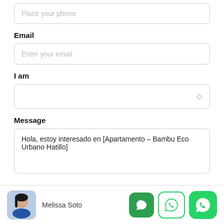Place your phone
Email
Enter your email
I am
Message
Hola, estoy interesado en [Apartamento – Bambu Eco Urbano Hatillo]
Melissa Soto